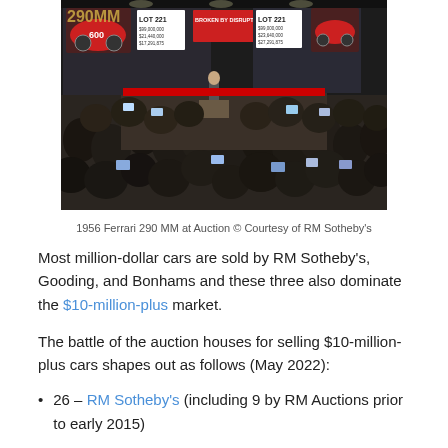[Figure (photo): Crowded auction room with large screens showing LOT 221 and 1956 Ferrari 290 MM, audience photographing with phones]
1956 Ferrari 290 MM at Auction © Courtesy of RM Sotheby's
Most million-dollar cars are sold by RM Sotheby's, Gooding, and Bonhams and these three also dominate the $10-million-plus market.
The battle of the auction houses for selling $10-million-plus cars shapes out as follows (May 2022):
26 – RM Sotheby's (including 9 by RM Auctions prior to early 2015)